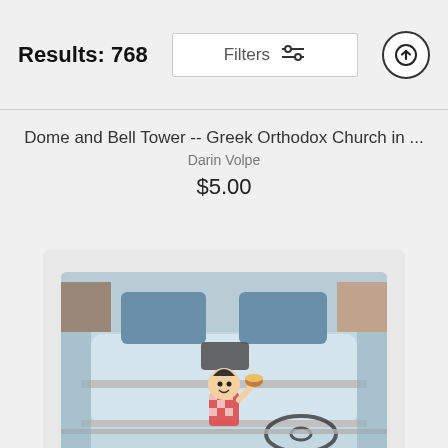Results: 768
Filters
Dome and Bell Tower -- Greek Orthodox Church in ...
Darin Volpe
$5.00
[Figure (photo): A vintage convertible car viewed from the rear, with a Bob's Big Boy mascot figurine visible on the dashboard through the back windshield. The car has blue bench seats and chrome trim.]